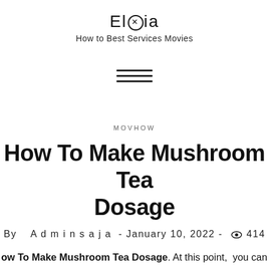Elbia — How to Best Services Movies
[Figure (other): Hamburger menu icon (three horizontal lines)]
MOVHOW
How To Make Mushroom Tea Dosage
By Adminsaja - January 10, 2022 - 414 views
How To Make Mushroom Tea Dosage. At this point, you can shoot and chew, or you can mix with apple sauce or a slightly more pleasant experience. Mushroom tea